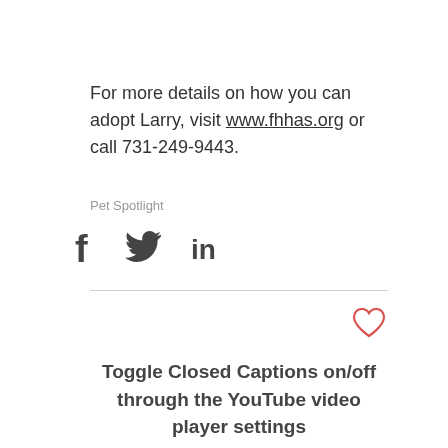For more details on how you can adopt Larry, visit www.fhhas.org or call 731-249-9443.
Pet Spotlight
[Figure (infographic): Social media sharing icons: Facebook (f), Twitter (bird), LinkedIn (in)]
[Figure (illustration): Red heart outline (like/favorite icon)]
Toggle Closed Captions on/off through the YouTube video player settings